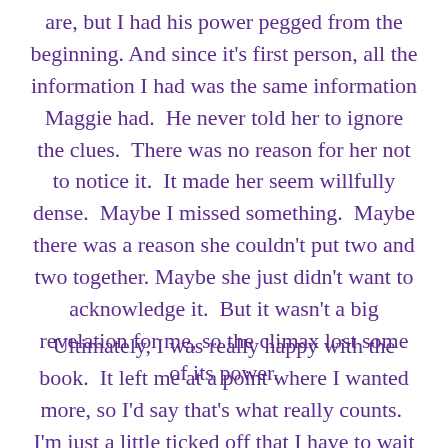are, but I had his power pegged from the beginning. And since it's first person, all the information I had was the same information Maggie had. He never told her to ignore the clues. There was no reason for her not to notice it. It made her seem willfully dense. Maybe I missed something. Maybe there was a reason she couldn't put two and two together. Maybe she just didn't want to acknowledge it. But it wasn't a big revelation for me, so the climax lost some of its power.
Ultimately, I was really happy with the book. It left me at a point where I wanted more, so I'd say that's what really counts. I'm just a little ticked off that I have to wait until April for the next one, but that's what I get for starting a series when it first comes out.